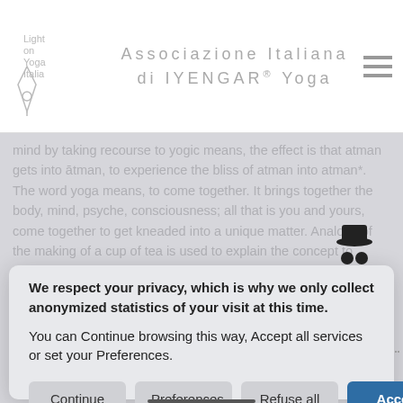Associazione Italiana di IYENGAR® Yoga
mind by taking recourse to yogic means, the effect is that atman gets into ātman, to experience the bliss of atman into atman*. The word yoga means, to come together. It brings together the body, mind, psyche, consciousness; all that is you and yours, come together to get kneaded into a unique matter. Analogy of the making of a cup of tea is used to explain the concept to kneading, blending. Arjuna's complain to Kṛṣṇa about being asked to do something which is so very difficult and Kṛṣṇa's answer to that question. The understanding of abhyāsa and vairāgya
We respect your privacy, which is why we only collect anonymized statistics of your visit at this time.

You can Continue browsing this way, Accept all services or set your Preferences.